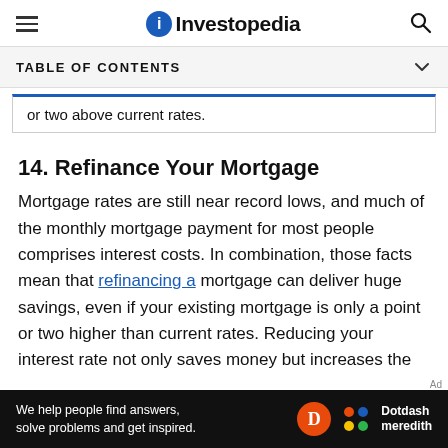Investopedia
TABLE OF CONTENTS
or two above current rates.
14. Refinance Your Mortgage
Mortgage rates are still near record lows, and much of the monthly mortgage payment for most people comprises interest costs. In combination, those facts mean that refinancing a mortgage can deliver huge savings, even if your existing mortgage is only a point or two higher than current rates. Reducing your interest rate not only saves money but increases the rate at which you build equity in your home.
We help people find answers, solve problems and get inspired. Dotdash meredith